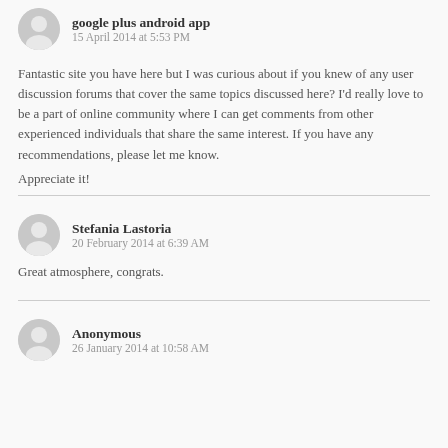google plus android app
15 April 2014 at 5:53 PM
Fantastic site you have here but I was curious about if you knew of any user discussion forums that cover the same topics discussed here? I'd really love to be a part of online community where I can get comments from other experienced individuals that share the same interest. If you have any recommendations, please let me know.
Appreciate it!
Stefania Lastoria
20 February 2014 at 6:39 AM
Great atmosphere, congrats.
Anonymous
26 January 2014 at 10:58 AM